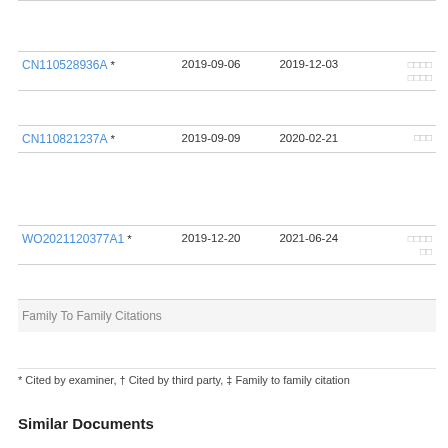| Patent | Filed | Published | Assignee |
| --- | --- | --- | --- |
| CN110528936A * | 2019-09-06 | 2019-12-03 | □□□□□□□□ |
| CN110821237A * | 2019-09-09 | 2020-02-21 | □□□ |
| WO2021120377A1 * | 2019-12-20 | 2021-06-24 | □□□□□□ |
| Family To Family Citations |  |  |  |
* Cited by examiner, † Cited by third party, ‡ Family to family citation
Similar Documents